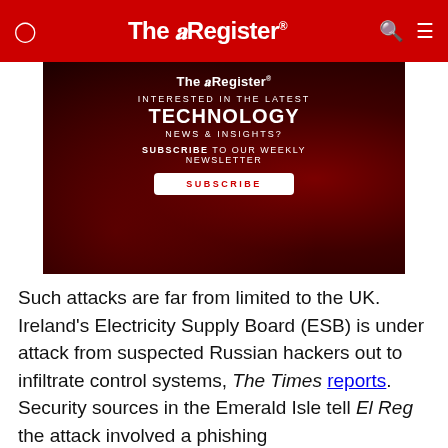The Register
[Figure (infographic): The Register subscription advertisement banner with dark red background showing 'INTERESTED IN THE LATEST TECHNOLOGY NEWS & INSIGHTS? SUBSCRIBE TO OUR WEEKLY NEWSLETTER' with a white Subscribe button.]
Such attacks are far from limited to the UK. Ireland's Electricity Supply Board (ESB) is under attack from suspected Russian hackers out to infiltrate control systems, The Times reports. Security sources in the Emerald Isle tell El Reg the attack involved a phishing